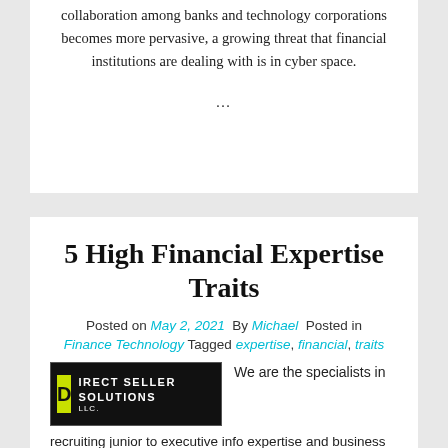collaboration among banks and technology corporations becomes more pervasive, a growing threat that financial institutions are dealing with is in cyber space.
…
5 High Financial Expertise Traits
Posted on May 2, 2021  By Michael  Posted in Finance Technology  Tagged expertise, financial, traits
[Figure (logo): Direct Seller Solutions LLC logo — black background with yellow-green D block and white uppercase text]
We are the specialists in recruiting junior to executive info expertise and business